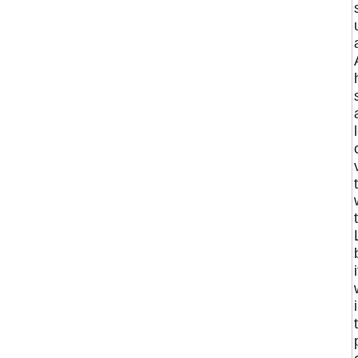start up agai Also he spen a lot of valu time with this LoCo befo it was in the poss of Simo Quic This LoCo